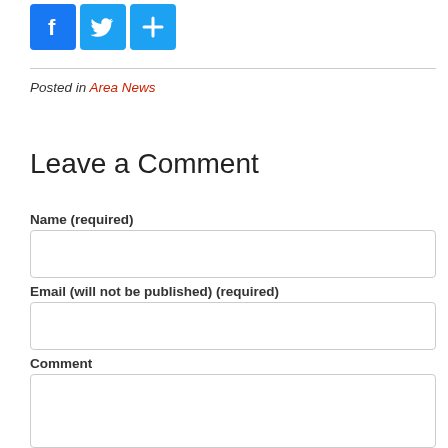[Figure (other): Social media share buttons: Facebook (blue f), Twitter (blue bird), and a blue plus/share button]
Posted in Area News
Leave a Comment
Name (required)
Email (will not be published) (required)
Comment